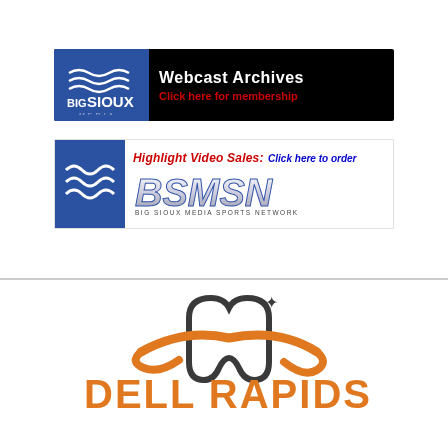[Figure (logo): Big Sioux Media Webcast Archives banner — dark background with blue logo panel on left (Big Sioux Media with wave graphic) and white text 'Webcast Archives' with red 'Click here for membership' on right]
[Figure (logo): BSMSN Big Sioux Media Sports Network banner — blue wave logo on left, red italic 'Highlight Video Sales: Click here to order' text above large silver/white BSMSN logo letters with subtitle 'Big Sioux Media Sports Network']
[Figure (logo): Dell Rapids dental office logo — dark tooth shape with orange cowboy hat brim swoosh over it, with a star accent, and 'DELL RAPIDS' text in large orange bold letters below]